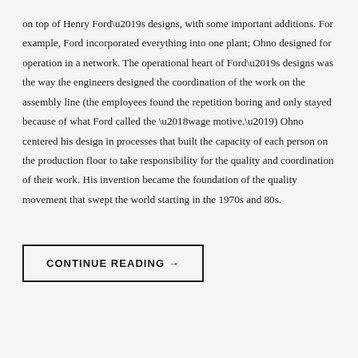on top of Henry Ford’s designs, with some important additions. For example, Ford incorporated everything into one plant; Ohno designed for operation in a network. The operational heart of Ford’s designs was the way the engineers designed the coordination of the work on the assembly line (the employees found the repetition boring and only stayed because of what Ford called the ‘wage motive.’) Ohno centered his design in processes that built the capacity of each person on the production floor to take responsibility for the quality and coordination of their work. His invention became the foundation of the quality movement that swept the world starting in the 1970s and 80s.
CONTINUE READING →